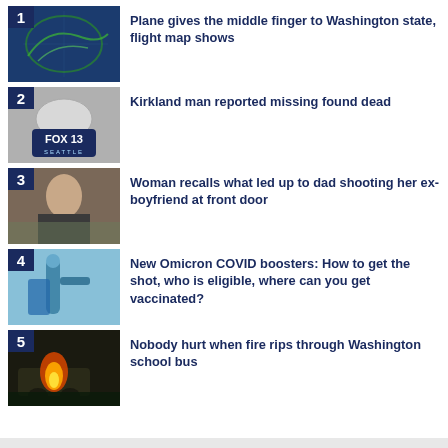1. Plane gives the middle finger to Washington state, flight map shows
2. Kirkland man reported missing found dead
3. Woman recalls what led up to dad shooting her ex-boyfriend at front door
4. New Omicron COVID boosters: How to get the shot, who is eligible, where can you get vaccinated?
5. Nobody hurt when fire rips through Washington school bus